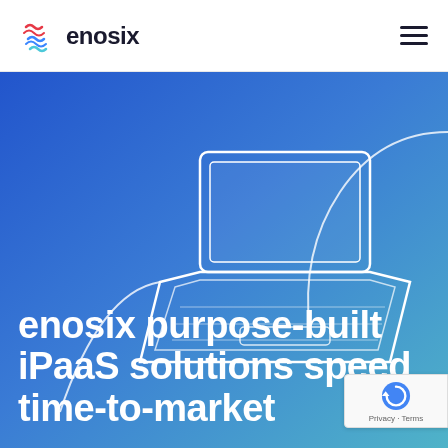enosix
[Figure (illustration): Blue-to-teal gradient hero banner with a white line-art laptop illustration and a curved white decorative line in the upper right corner]
enosix purpose-built iPaaS solutions speed time-to-market